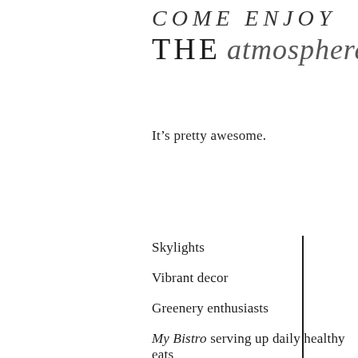COME ENJOY THE atmosphere
It's pretty awesome.
Skylights
Vibrant decor
Greenery enthusiasts
My Bistro serving up daily healthy eats
Stimulating work environment